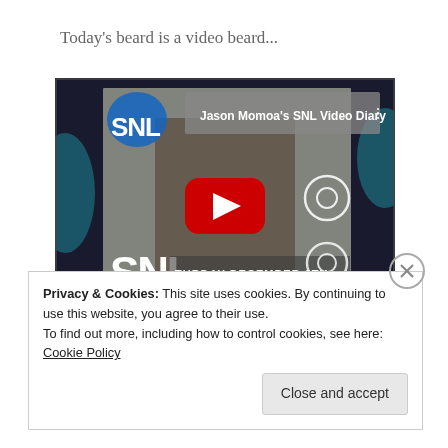Today's beard is a video beard...
[Figure (screenshot): YouTube embedded video thumbnail showing Jason Momoa's SNL Video Diary. The thumbnail shows Jason Momoa smiling, with the SNL logo in the corner, a YouTube play button in the center, and text reading 'SATURDAY DECEMBER 8TH 10:54 AM' at the bottom.]
Privacy & Cookies: This site uses cookies. By continuing to use this website, you agree to their use.
To find out more, including how to control cookies, see here: Cookie Policy
Close and accept